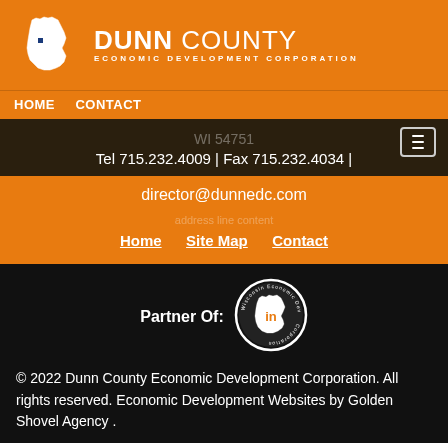[Figure (logo): Dunn County Economic Development Corporation logo with Wisconsin state outline and orange background]
HOME   CONTACT
WI  54751
Tel 715.232.4009 | Fax 715.232.4034 |
director@dunnedc.com
Home   Site Map   Contact
[Figure (logo): Wisconsin Economic Development Corporation partner badge - circular logo with 'in' symbol]
© 2022 Dunn County Economic Development Corporation. All rights reserved. Economic Development Websites by Golden Shovel Agency .